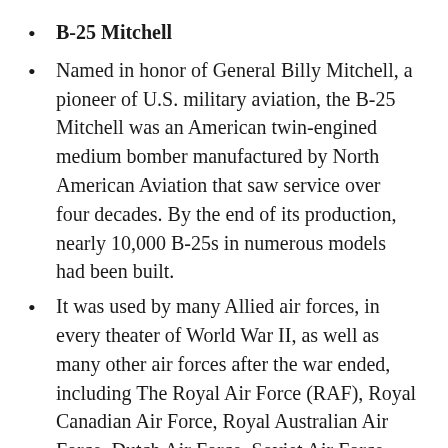B-25 Mitchell
Named in honor of General Billy Mitchell, a pioneer of U.S. military aviation, the B-25 Mitchell was an American twin-engined medium bomber manufactured by North American Aviation that saw service over four decades. By the end of its production, nearly 10,000 B-25s in numerous models had been built.
It was used by many Allied air forces, in every theater of World War II, as well as many other air forces after the war ended, including The Royal Air Force (RAF), Royal Canadian Air Force, Royal Australian Air Force, Dutch Air Force, Soviet Air Force, China Air Force, Brazilian Air Force, and